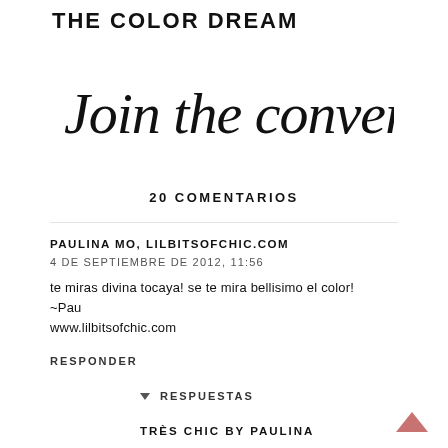THE COLOR DREAM
Join the conversation
20 COMENTARIOS
PAULINA MO, LILBITSOFCHIC.COM
4 DE SEPTIEMBRE DE 2012, 11:56
te miras divina tocaya! se te mira bellisimo el color!
~Pau
www.lilbitsofchic.com
RESPONDER
RESPUESTAS
TRÈS CHIC BY PAULINA